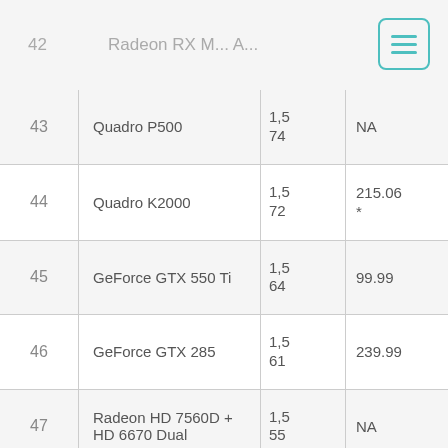| # | GPU Name | Score | Price |
| --- | --- | --- | --- |
| 42 | Radeon RX M... A... |  |  |
| 43 | Quadro P500 | 1,5
74 | NA |
| 44 | Quadro K2000 | 1,5
72 | 215.06 * |
| 45 | GeForce GTX 550 Ti | 1,5
64 | 99.99 |
| 46 | GeForce GTX 285 | 1,5
61 | 239.99 |
| 47 | Radeon HD 7560D + HD 6670 Dual | 1,5
55 | NA |
| 48 | Radeon Vega 10 | 1,5
48 | NA |
| 49 | Embedded Radeon E9173 | 1,5
46 | NA |